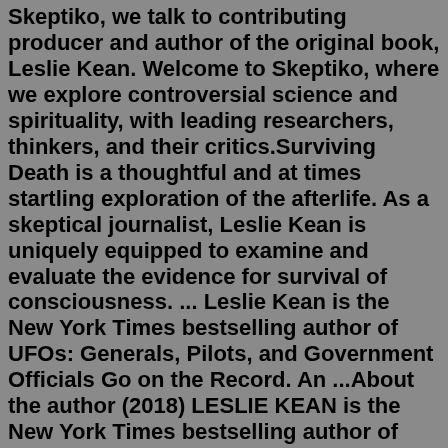Skeptiko, we talk to contributing producer and author of the original book, Leslie Kean. Welcome to Skeptiko, where we explore controversial science and spirituality, with leading researchers, thinkers, and their critics.Surviving Death is a thoughtful and at times startling exploration of the afterlife. As a skeptical journalist, Leslie Kean is uniquely equipped to examine and evaluate the evidence for survival of consciousness. ... Leslie Kean is the New York Times bestselling author of UFOs: Generals, Pilots, and Government Officials Go on the Record. An ...About the author (2018) LESLIE KEAN is the New York Times bestselling author of UFOs- Generals, Pilots, and Government Officials Go on the Record (Crown Archetype, 2010). An independent investigative journalist, she has been published widely in dozens of newspapers and magazines here and abroad, such as the Boston Globe, The Nation, the Globe ... "Surviving Death is a thoughtful and at times startling exploration of the afterlife. As a skeptical journalist, Leslie Kean is uniquely equipped to